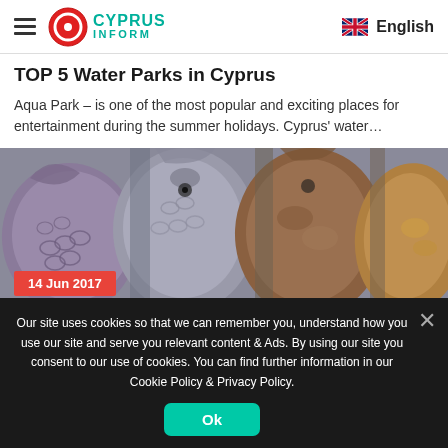Cyprus Inform — English
TOP 5 Water Parks in Cyprus
Aqua Park – is one of the most popular and exciting places for entertainment during the summer holidays. Cyprus' water…
[Figure (photo): Close-up photo of several fish heads lined up side by side, showing scales and textures in brown, grey, and amber colors. A red badge in the lower left reads '14 Jun 2017'.]
Our site uses cookies so that we can remember you, understand how you use our site and serve you relevant content & Ads. By using our site you consent to our use of cookies. You can find further information in our Cookie Policy & Privacy Policy.